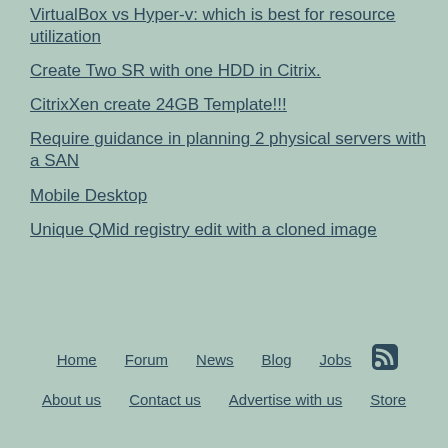VirtualBox vs Hyper-v: which is best for resource utilization
Create Two SR with one HDD in Citrix.
CitrixXen create 24GB Template!!!
Require guidance in planning 2 physical servers with a SAN
Mobile Desktop
Unique QMid registry edit with a cloned image
Home  Forum  News  Blog  Jobs  RSS  About us  Contact us  Advertise with us  Store